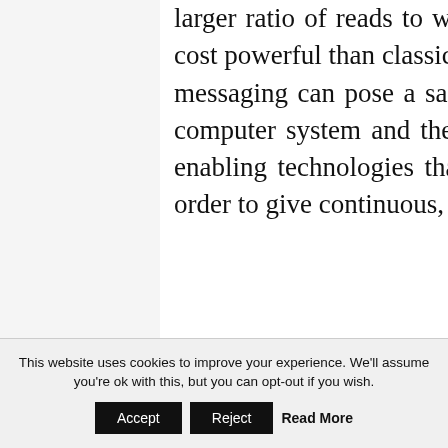larger ratio of reads to writes. Instant messaging is easy and extra cost powerful than classic types of communication however, instant messaging can pose a safety danger, allowing viruses to harm the computer system and the network. Storage Area Networks are an enabling technologies that permit storage sources to be shared in order to give continuous, more quickly, a
This website uses cookies to improve your experience. We'll assume you're ok with this, but you can opt-out if you wish.